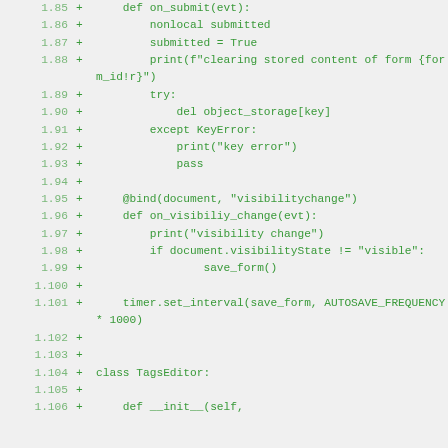[Figure (screenshot): Code diff screenshot showing Python code lines 1.85 through 1.106, displaying additions (marked with +) including functions on_submit, on_visibiliy_change, and class TagsEditor definition, with line numbers in grey and code in green on a light grey background.]